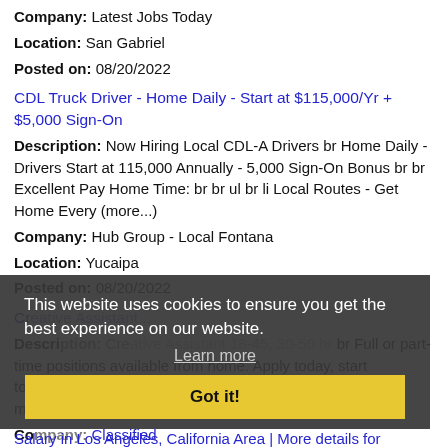Company: Latest Jobs Today
Location: San Gabriel
Posted on: 08/20/2022
CDL Truck Driver - Home Daily - Start at $115,000/Yr + $5,000 Sign-On
Description: Now Hiring Local CDL-A Drivers br Home Daily - Drivers Start at 115,000 Annually - 5,000 Sign-On Bonus br br Excellent Pay Home Time: br br ul br li Local Routes - Get Home Every (more...)
Company: Hub Group - Local Fontana
Location: Yucaipa
Posted on: 08/20/2022
Creative Assistant...
Description: Creative Assistant 18-45, 30-50 hr br Full or part-time positions available from home. Apply today, start tomorrow. br We are looking for a Creative Assistant to join marketing campaigns and participate (more...)
Company: Classified
Location: San Gabriel
Posted on: 08/20/2022
Salary in Los Angeles, California Area | More details for
This website uses cookies to ensure you get the best experience on our website. Learn more Got it!